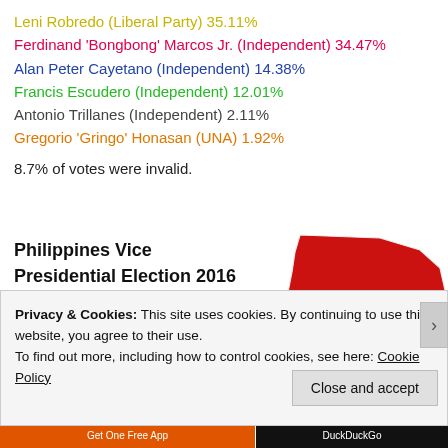Leni Robredo (Liberal Party) 35.11%
Ferdinand 'Bongbong' Marcos Jr. (Independent) 34.47%
Alan Peter Cayetano (Independent) 14.38%
Francis Escudero (Independent) 12.01%
Antonio Trillanes (Independent) 2.11%
Gregorio 'Gringo' Honasan (UNA) 1.92%
8.7% of votes were invalid.
[Figure (map): Philippines Vice Presidential Election 2016 map showing regional results, with large red areas indicating Robredo or Marcos wins, and a magenta area in the southeast.]
Privacy & Cookies: This site uses cookies. By continuing to use this website, you agree to their use. To find out more, including how to control cookies, see here: Cookie Policy